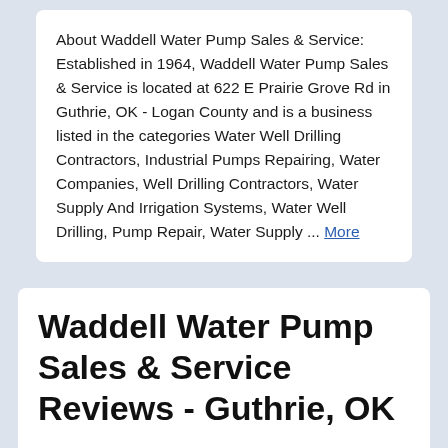About Waddell Water Pump Sales & Service: Established in 1964, Waddell Water Pump Sales & Service is located at 622 E Prairie Grove Rd in Guthrie, OK - Logan County and is a business listed in the categories Water Well Drilling Contractors, Industrial Pumps Repairing, Water Companies, Well Drilling Contractors, Water Supply And Irrigation Systems, Water Well Drilling, Pump Repair, Water Supply ... More
Waddell Water Pump Sales & Service Reviews - Guthrie, OK
...
See reviews for Waddell Water Pump Sales & Service in Guthrie, OK at 622 E Prairie Grove Rd from Angie's List members or join today to leave